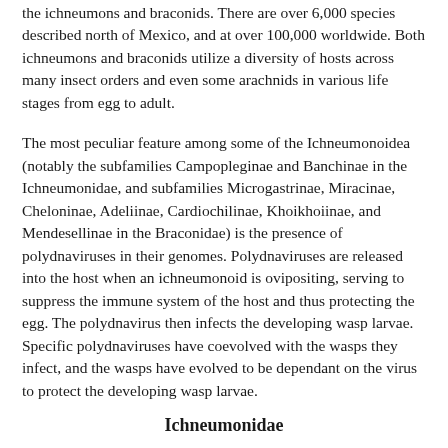the ichneumons and braconids. There are over 6,000 species described north of Mexico, and at over 100,000 worldwide. Both ichneumons and braconids utilize a diversity of hosts across many insect orders and even some arachnids in various life stages from egg to adult.
The most peculiar feature among some of the Ichneumonoidea (notably the subfamilies Campopleginae and Banchinae in the Ichneumonidae, and subfamilies Microgastrinae, Miracinae, Cheloninae, Adeliinae, Cardiochilinae, Khoikhoiinae, and Mendesellinae in the Braconidae) is the presence of polydnaviruses in their genomes. Polydnaviruses are released into the host when an ichneumonoid is ovipositing, serving to suppress the immune system of the host and thus protecting the egg. The polydnavirus then infects the developing wasp larvae. Specific polydnaviruses have coevolved with the wasps they infect, and the wasps have evolved to be dependant on the virus to protect the developing wasp larvae.
Ichneumonidae
The Ichneumonidae, or ichneumon wasps, are ecto- or endoparasitoids (external and internal parasitoids, respectively) of